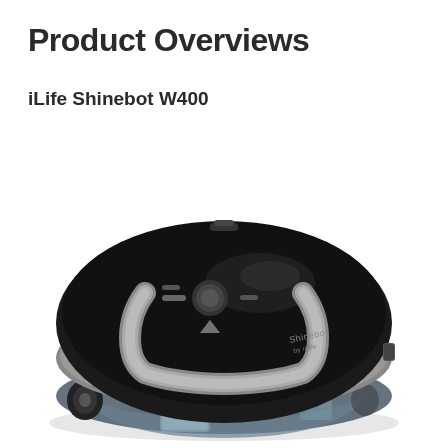Product Overviews
iLife Shinebot W400
[Figure (photo): iLife Shinebot W400 robot floor scrubber/mopper photographed from a slightly elevated angle, showing a round black device with glossy top surface featuring a silver U-shaped trim, control buttons in the center, and a transparent water tank at the bottom front. The brand name 'Shinebot by iLife' is visible on the surface.]